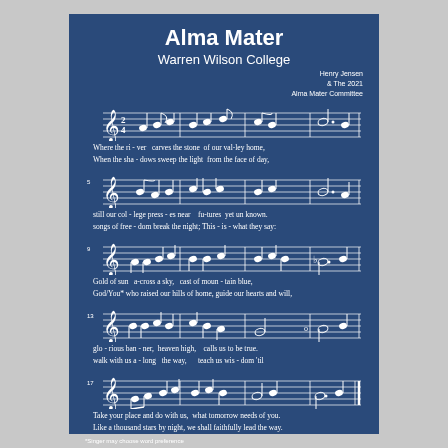Alma Mater
Warren Wilson College
Henry Jensen & The 2021 Alma Mater Committee
[Figure (other): Sheet music staff 1 (measures 1-4) in 2/4 time with treble clef, notes and rests]
Where the ri - ver   carves the stone  of our val-ley home,
When the sha - dows sweep the light  from the face of day,
[Figure (other): Sheet music staff 2 (measure 5-8) in 2/4 time with treble clef]
still our col - lege press - es near    fu-tures  yet  un  known.
songs of free - dom break the night; This - is - what they say:
[Figure (other): Sheet music staff 3 (measures 9-12) in 2/4 time with treble clef]
Gold  of  sun   a-cross  a  sky,   cast of moun - tain  blue,
God/You* who raised our hills of home, guide our hearts and will,
[Figure (other): Sheet music staff 4 (measures 13-16) in 2/4 time with treble clef]
glo - rious  ban - ner,  heaven high,    calls us  to  be  true.
walk with us  a - long   the way,       teach us  wis - dom 'til
[Figure (other): Sheet music staff 5 (measures 17-end) in 2/4 time with treble clef, final barline]
Take your place and do with us,  what tomorrow needs of you.
Like a thousand stars by night, we shall faithfully lead the way.
*Singer may choose word preference